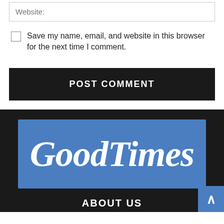Website:
Save my name, email, and website in this browser for the next time I comment.
POST COMMENT
[Figure (logo): GoodTimes logo in white italic script on a blue background]
ABOUT US